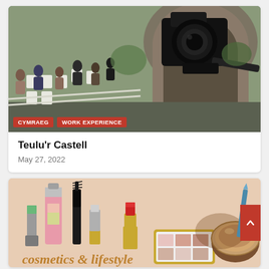[Figure (photo): Aerial/behind-camera view of an outdoor wedding ceremony at a castle, with camera on tripod in foreground and guests seated in rows below]
CYMRAEG
WORK EXPERIENCE
Teulu'r Castell
May 27, 2022
[Figure (illustration): Cosmetics/makeup items illustration on beige background including lipsticks, nail polish, mascara, eyeshadow palette, and compact powder, with gold script text at the bottom. Label 'HYD' in top left corner.]